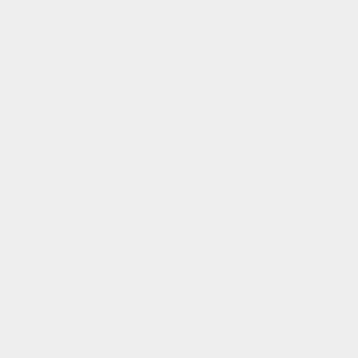[Figure (other): Mostly blank/white page with very faint, barely visible content impressions — appears to be a near-empty or heavily faded document page with light gray background.]